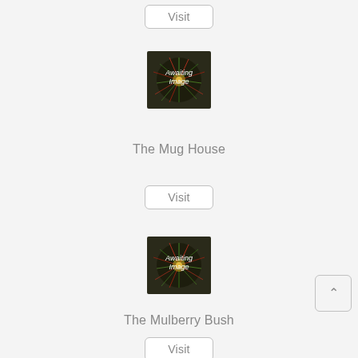[Figure (other): Visit button row at top]
[Figure (photo): Awaiting Image placeholder with fireworks background]
The Mug House
[Figure (other): Visit button]
[Figure (photo): Awaiting Image placeholder with fireworks background]
The Mulberry Bush
[Figure (other): Visit button]
[Figure (photo): Awaiting Image placeholder with fireworks background (partial)]